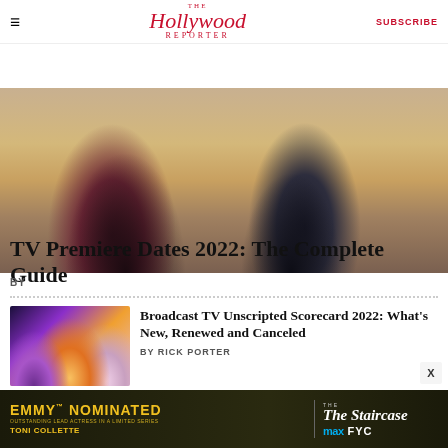The Hollywood Reporter | SUBSCRIBE
[Figure (photo): Two people standing on a sandy beach, one in a dark burgundy/maroon coat (left) and one in an all-black outfit (right), holding hands]
TV Premiere Dates 2022: The Complete Guide
BY
[Figure (photo): Thumbnail collage showing three TV personalities on a colorful stage background — Broadcast TV Unscripted Scorecard 2022]
Broadcast TV Unscripted Scorecard 2022: What's New, Renewed and Canceled
BY RICK PORTER
[Figure (other): Advertisement banner: EMMY NOMINATED including OUTSTANDING LEAD ACTRESS IN A LIMITED SERIES TONI COLLETTE / THE STAIRCASE max FYC]